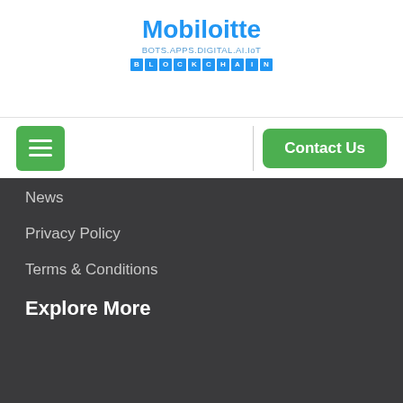[Figure (logo): Mobiloitte logo with text BOTS.APPS.DIGITAL.AI.IoT and BLOCKCHAIN in blue letter boxes]
[Figure (screenshot): Navigation bar with green hamburger menu button on left, vertical divider, and green Contact Us button on right]
News
Privacy Policy
Terms & Conditions
Explore More
Hire iOS Developer
Hire Android Developer
Hire Ionic Developer
Hire Xamarin Developer
Hire Flutter Developer
+ View All